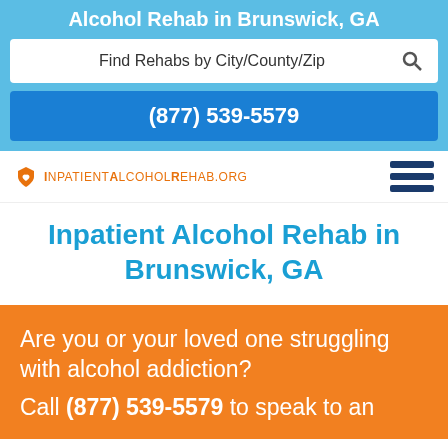Alcohol Rehab in Brunswick, GA
Find Rehabs by City/County/Zip
(877) 539-5579
[Figure (logo): InpatientAlcoholRehab.org logo with orange shield/heart icon and orange uppercase text]
Inpatient Alcohol Rehab in Brunswick, GA
Are you or your loved one struggling with alcohol addiction? Call (877) 539-5579 to speak to an addiction treatment specialist.